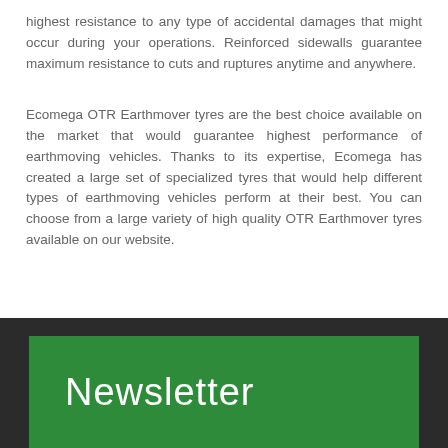highest resistance to any type of accidental damages that might occur during your operations. Reinforced sidewalls guarantee maximum resistance to cuts and ruptures anytime and anywhere.
Ecomega OTR Earthmover tyres are the best choice available on the market that would guarantee highest performance of earthmoving vehicles. Thanks to its expertise, Ecomega has created a large set of specialized tyres that would help different types of earthmoving vehicles perform at their best. You can choose from a large variety of high quality OTR Earthmover tyres available on our website.
Newsletter